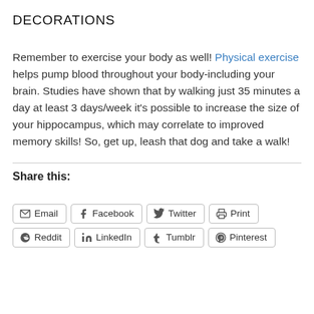DECORATIONS
Remember to exercise your body as well! Physical exercise helps pump blood throughout your body-including your brain. Studies have shown that by walking just 35 minutes a day at least 3 days/week it’s possible to increase the size of your hippocampus, which may correlate to improved memory skills! So, get up, leash that dog and take a walk!
Share this:
Email | Facebook | Twitter | Print | Reddit | LinkedIn | Tumblr | Pinterest